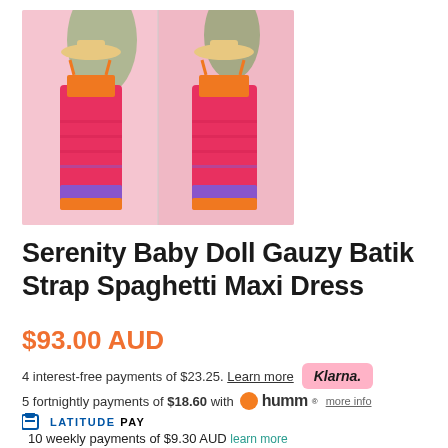[Figure (photo): Product photo showing two views of a woman wearing a pink/orange/purple batik maxi dress with spaghetti straps and wide-brim hat]
Serenity Baby Doll Gauzy Batik Strap Spaghetti Maxi Dress
$93.00 AUD
4 interest-free payments of $23.25. Learn more  Klarna.
5 fortnightly payments of $18.60 with humm  more info
LATITUDE PAY
10 weekly payments of $9.30 AUD learn more
Or 6 weekly interest free payments from $15.50 with
LAYBUY what's this?